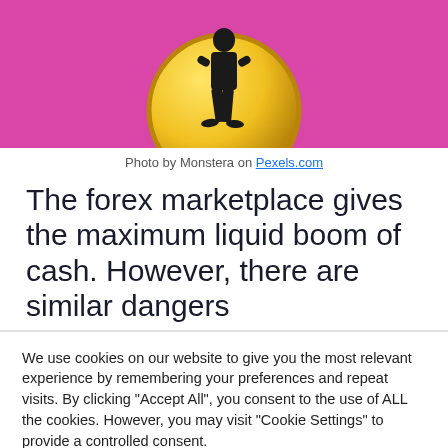[Figure (photo): Photo of a person in black suit standing in front of a large gold coin, on a pink/magenta background]
Photo by Monstera on Pexels.com
The forex marketplace gives the maximum liquid boom of cash. However, there are similar dangers
We use cookies on our website to give you the most relevant experience by remembering your preferences and repeat visits. By clicking "Accept All", you consent to the use of ALL the cookies. However, you may visit "Cookie Settings" to provide a controlled consent.
Cookie Settings | Accept All